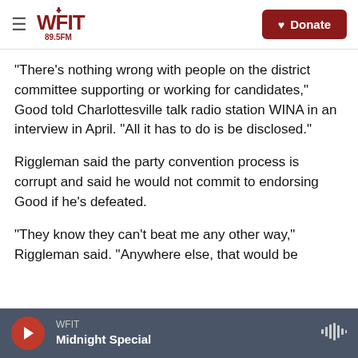WFIT 89.5FM | Donate
"There's nothing wrong with people on the district committee supporting or working for candidates," Good told Charlottesville talk radio station WINA in an interview in April. "All it has to do is be disclosed."
Riggleman said the party convention process is corrupt and said he would not commit to endorsing Good if he's defeated.
"They know they can't beat me any other way," Riggleman said. "Anywhere else, that would be
WFIT | Midnight Special